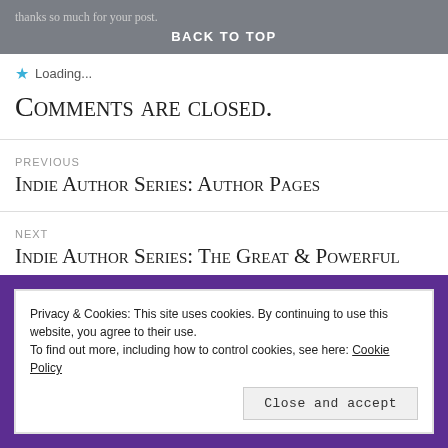thanks so much for your post.
BACK TO TOP
★ Loading...
Comments are closed.
PREVIOUS
Indie Author Series: Author Pages
NEXT
Indie Author Series: The Great & Powerful
Privacy & Cookies: This site uses cookies. By continuing to use this website, you agree to their use.
To find out more, including how to control cookies, see here: Cookie Policy
Close and accept